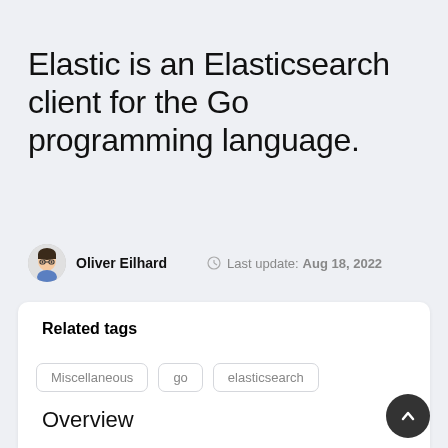Elastic is an Elasticsearch client for the Go programming language.
Oliver Eilhard   Last update: Aug 18, 2022
Related tags
Miscellaneous
go
elasticsearch
Overview